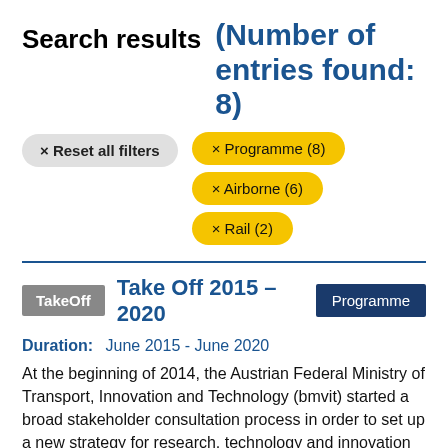Search results (Number of entries found: 8)
× Reset all filters
× Programme (8)
× Airborne (6)
× Rail (2)
TakeOff  Take Off 2015 – 2020  Programme
Duration: June 2015 - June 2020
At the beginning of 2014, the Austrian Federal Ministry of Transport, Innovation and Technology (bmvit) started a broad stakeholder consultation process in order to set up a new strategy for research, technology and innovation in the field of